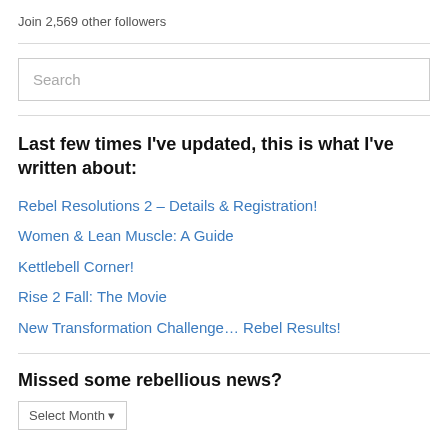Join 2,569 other followers
Last few times I've updated, this is what I've written about:
Rebel Resolutions 2 – Details & Registration!
Women & Lean Muscle: A Guide
Kettlebell Corner!
Rise 2 Fall: The Movie
New Transformation Challenge… Rebel Results!
Missed some rebellious news?